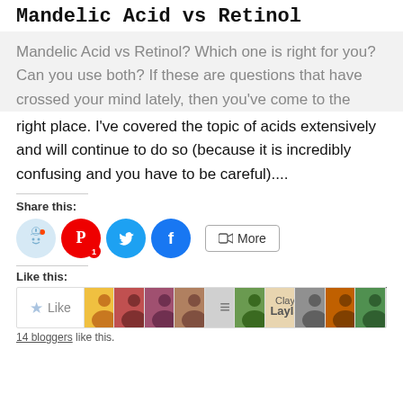Mandelic Acid vs Retinol
Mandelic Acid vs Retinol? Which one is right for you? Can you use both? If these are questions that have crossed your mind lately, then you've come to the right place. I've covered the topic of acids extensively and will continue to do so (because it is incredibly confusing and you have to be careful)....
Share this:
[Figure (infographic): Social share buttons: Reddit (light blue circle), Pinterest (red circle with badge '1'), Twitter (light blue circle), Facebook (blue circle), More button]
Like this:
[Figure (infographic): Like button bar with star icon, blogger avatars, and CLOSE button overlay. Shows 14 blogger avatars.]
14 bloggers like this.